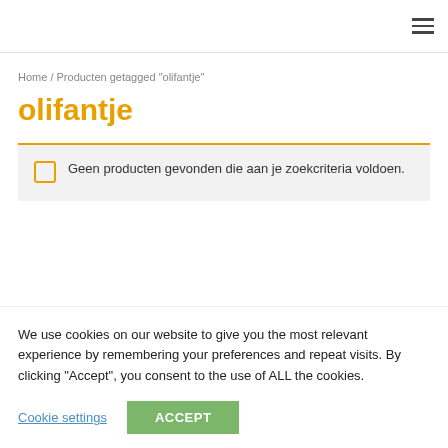≡
Home / Producten getagged "olifantje"
olifantje
Geen producten gevonden die aan je zoekcriteria voldoen.
We use cookies on our website to give you the most relevant experience by remembering your preferences and repeat visits. By clicking "Accept", you consent to the use of ALL the cookies.
Cookie settings  ACCEPT